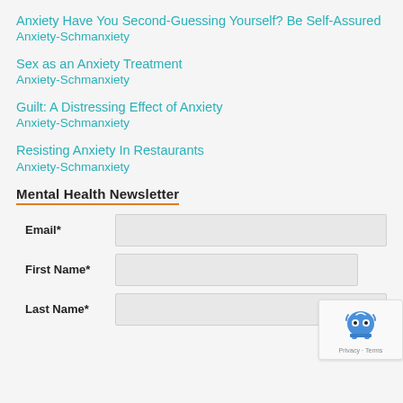Anxiety Have You Second-Guessing Yourself? Be Self-Assured
Anxiety-Schmanxiety
Sex as an Anxiety Treatment
Anxiety-Schmanxiety
Guilt: A Distressing Effect of Anxiety
Anxiety-Schmanxiety
Resisting Anxiety In Restaurants
Anxiety-Schmanxiety
Mental Health Newsletter
Email*
First Name*
Last Name*
[Figure (other): reCAPTCHA badge showing robot icon and Privacy - Terms text]